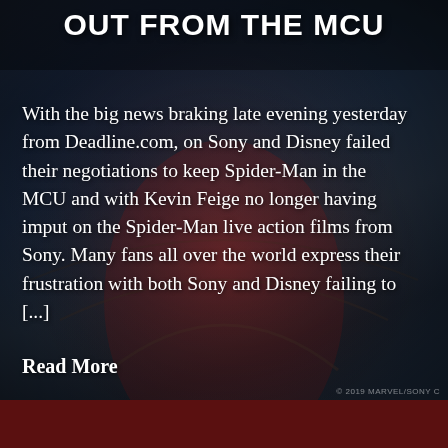OUT FROM THE MCU
With the big news braking late evening yesterday from Deadline.com, on Sony and Disney failed their negotiations to keep Spider-Man in the MCU and with Kevin Feige no longer having imput on the Spider-Man live action films from Sony. Many fans all over the world express their frustration with both Sony and Disney failing to [...]
Read More